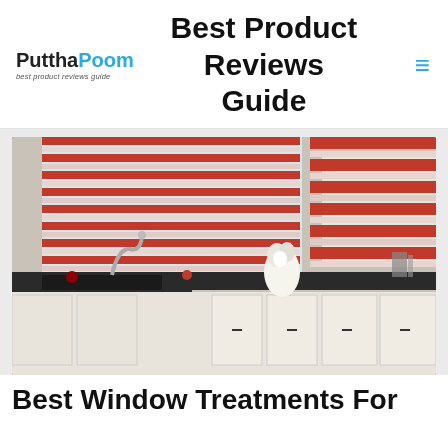PutthaPoom best product reviews guide | Best Product Reviews Guide
[Figure (photo): Kitchen interior with red horizontal window blinds/shades covering large windows, white cabinetry, dark countertops, stainless steel faucet, and flowers on the counter.]
Best Window Treatments For